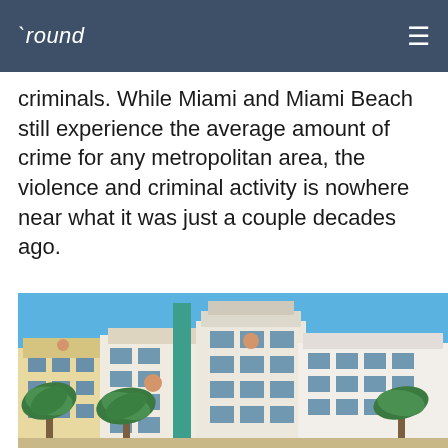'round
criminals. While Miami and Miami Beach still experience the average amount of crime for any metropolitan area, the violence and criminal activity is nowhere near what it was just a couple decades ago.
[Figure (photo): Art Deco buildings in Miami Beach with palm trees in the foreground under a blue sky. The buildings are pastel-colored (cream, yellow, teal/green accents, pink accents) with classic Art Deco architectural details.]